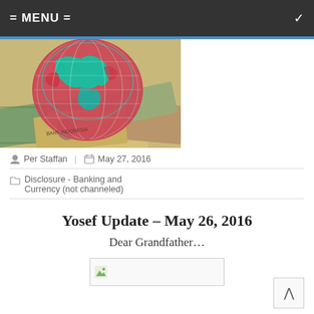= MENU =
[Figure (illustration): Globe with grid lines showing continents in red and teal/green, overlaid on a collage of international currency banknotes including US dollars, Indonesian rupiah, and Japanese yen (1000 note).]
Per Staffan | May 27, 2016
Disclosure - Banking and Currency (not channeled)
Yosef Update – May 26, 2016
Dear Grandfather…
[Figure (photo): Broken/missing image placeholder]